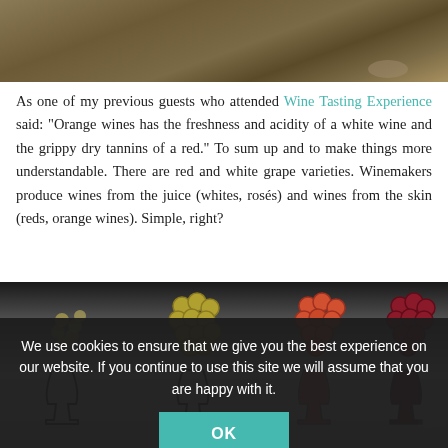[Figure (photo): Top of page: close-up photo of brown/tan textured material (spices or ground material), partially cut off at top of viewport]
As one of my previous guests who attended Wine Tasting Experience said: "Orange wines has the freshness and acidity of a white wine and the grippy dry tannins of a red." To sum up and to make things more understandable. There are red and white grape varieties. Winemakers produce wines from the juice (whites, rosés) and wines from the skin (reds, orange wines). Simple, right?
[Figure (illustration): Diagram showing four types of grape clusters and wine glasses below them, set against a dark to light gradient background. Four columns with different colored grapes: pale yellow/white, olive-yellow, orange-red, and dark red/maroon. Below each cluster is an outline drawing of a wine glass.]
We use cookies to ensure that we give you the best experience on our website. If you continue to use this site we will assume that you are happy with it.